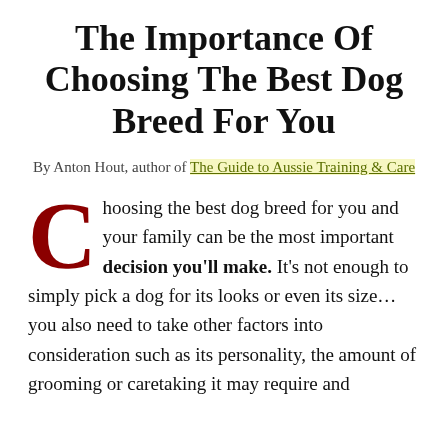The Importance Of Choosing The Best Dog Breed For You
By Anton Hout, author of The Guide to Aussie Training & Care
Choosing the best dog breed for you and your family can be the most important decision you'll make. It's not enough to simply pick a dog for its looks or even its size... you also need to take other factors into consideration such as its personality, the amount of grooming or caretaking it may require and